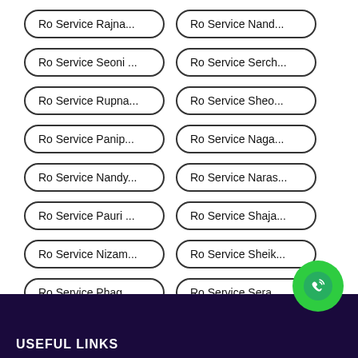Ro Service Rajna...
Ro Service Nand...
Ro Service Seoni ...
Ro Service Serch...
Ro Service Rupna...
Ro Service Sheo...
Ro Service Panip...
Ro Service Naga...
Ro Service Nandy...
Ro Service Naras...
Ro Service Pauri ...
Ro Service Shaja...
Ro Service Nizam...
Ro Service Sheik...
Ro Service Phag...
Ro Service Sera...
Vie...
USEFUL LINKS